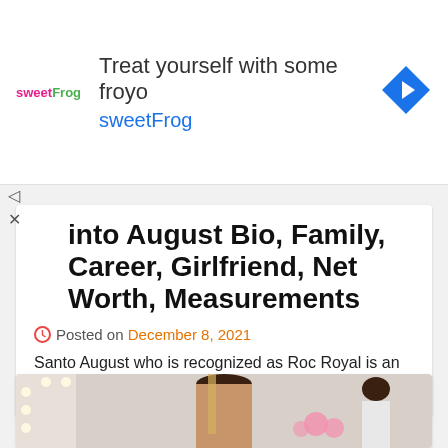[Figure (other): SweetFrog frozen yogurt advertisement banner with logo, text 'Treat yourself with some froyo sweetFrog', and a blue diamond navigation icon]
…into August Bio, Family, Career, Girlfriend, Net Worth, Measurements
Posted on December 8, 2021
Santo August who is recognized as Roc Royal is an American rapper, dancer, and actor. He is best...
[Figure (photo): Photo of a young woman with long straight hair with blonde highlights, sitting in what appears to be a dressing room with light bulb mirrors, pink flowers visible in background]